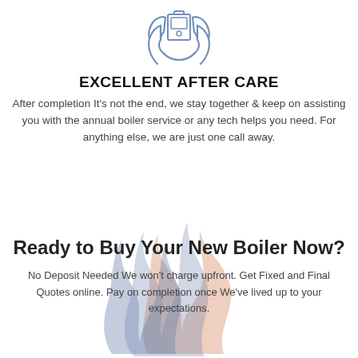[Figure (illustration): Icon of two hands holding a boiler/heating unit, drawn in a thin blue line style]
EXCELLENT AFTER CARE
After completion It's not the end, we stay together & keep on assisting you with the annual boiler service or any tech helps you need. For anything else, we are just one call away.
[Figure (illustration): Watermark-style flame logo in orange and blue/grey tones in the background]
Ready to Buy Your New Boiler Now?
No Deposit Needed We won't charge upfront. Get Fixed and Final Quotes online. Pay on completion once We've lived up to your expectations.